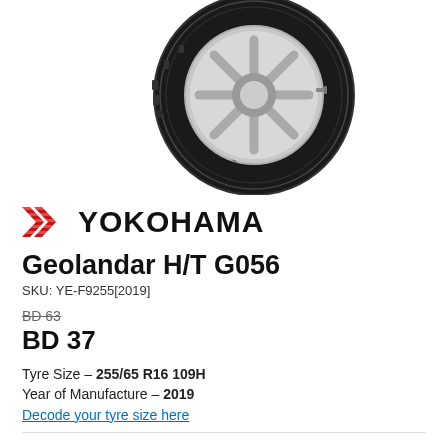[Figure (photo): Yokohama tire (Geolandar H/T G056) viewed from side angle showing tread pattern and sidewall with YOKOHAMA lettering, mounted on a silver alloy wheel, photographed on white background.]
[Figure (logo): Yokohama logo: red double-chevron arrow mark followed by bold black YOKOHAMA text]
Geolandar H/T G056
SKU: YE-F9255[2019]
BD 63
BD 37
Tyre Size – 255/65 R16 109H
Year of Manufacture – 2019
Decode your tyre size here